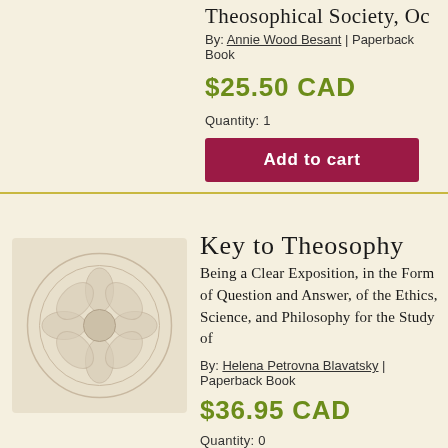Theosophical Society, Oc... By: Annie Wood Besant | Paperback Book
$25.50 CAD
Quantity: 1
Add to cart
[Figure (logo): Theosophical Society emblem - circular floral/mandala design in light grey]
Key to Theosophy
Being a Clear Exposition, in the Form of Question and Answer, of the Ethics, Science, and Philosophy for the Study of
By: Helena Petrovna Blavatsky | Paperback Book
$36.95 CAD
Quantity: 0
Add to cart